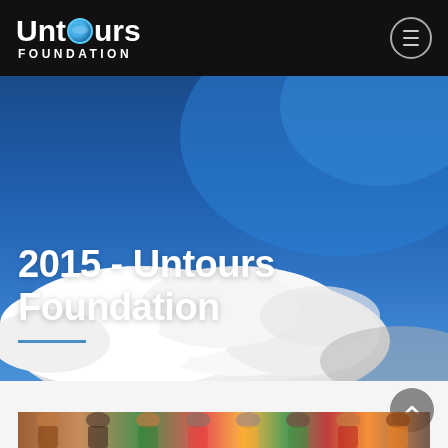[Figure (logo): Untours Foundation logo with globe icon, white text on black background, hamburger menu icon top right]
[Figure (photo): Hero banner photo: blue sky with white clouds, overlaid with large white bold text '2015 - Untours Foundation' and a teal underline]
2015 - Untours Foundation
[Figure (photo): Bottom strip showing partial photo of colorful scene with people, partially cut off at bottom of page]